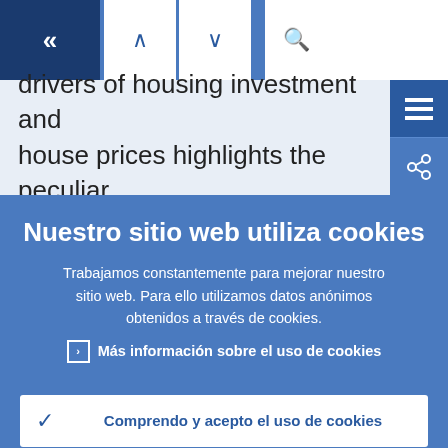[Figure (screenshot): Navigation bar with back button (double chevron left), up/down arrow buttons, and search bar with magnifying glass icon]
drivers of housing investment and house prices highlights the peculiar
Nuestro sitio web utiliza cookies
Trabajamos constantemente para mejorar nuestro sitio web. Para ello utilizamos datos anónimos obtenidos a través de cookies.
› Más información sobre el uso de cookies
✓ Comprendo y acepto el uso de cookies
✕ No acepto el uso de cookies